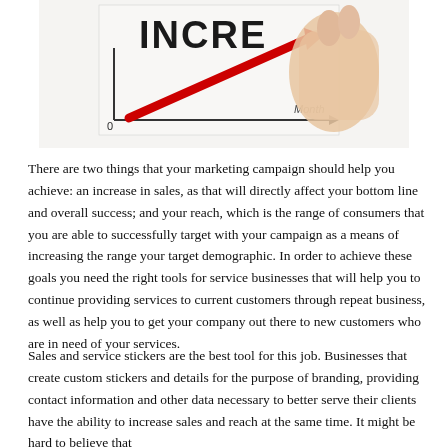[Figure (photo): A hand drawing an upward-trending arrow on a whiteboard with the word 'INCRE...' (INCREASE) and a chart showing Month on the x-axis, with a red arrow going up.]
There are two things that your marketing campaign should help you achieve: an increase in sales, as that will directly affect your bottom line and overall success; and your reach, which is the range of consumers that you are able to successfully target with your campaign as a means of increasing the range your target demographic. In order to achieve these goals you need the right tools for service businesses that will help you to continue providing services to current customers through repeat business, as well as help you to get your company out there to new customers who are in need of your services.
Sales and service stickers are the best tool for this job. Businesses that create custom stickers and details for the purpose of branding, providing contact information and other data necessary to better serve their clients have the ability to increase sales and reach at the same time. It might be hard to believe that